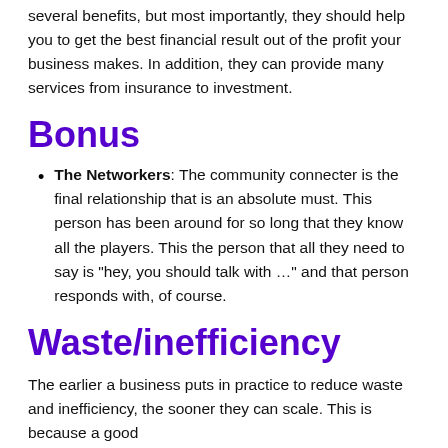several benefits, but most importantly, they should help you to get the best financial result out of the profit your business makes. In addition, they can provide many services from insurance to investment.
Bonus
The Networkers: The community connecter is the final relationship that is an absolute must. This person has been around for so long that they know all the players. This the person that all they need to say is "hey, you should talk with …" and that person responds with, of course.
Waste/inefficiency
The earlier a business puts in practice to reduce waste and inefficiency, the sooner they can scale. This is because a good